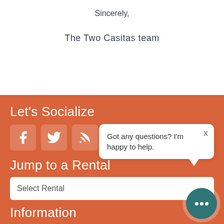Sincerely,
The Two Casitas team
Let's Socialize
[Figure (other): Social media icons: Facebook, Twitter, RSS feed]
Jump to a Rental
Select Rental
Information
[Figure (other): Chat popup bubble with text: Got any questions? I'm happy to help. with close X button and teal chat button with three dots]